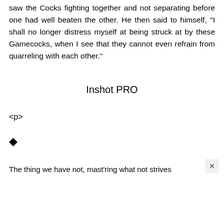saw the Cocks fighting together and not separating before one had well beaten the other. He then said to himself, "I shall no longer distress myself at being struck at by these Gamecocks, when I see that they cannot even refrain from quarreling with each other."
Inshot PRO
<p>
◆
The thing we have not, mast'ring what not strives